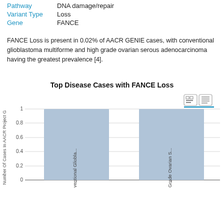Pathway   DNA damage/repair
Variant Type   Loss
Gene   FANCE
FANCE Loss is present in 0.02% of AACR GENIE cases, with conventional glioblastoma multiforme and high grade ovarian serous adenocarcinoma having the greatest prevalence [4].
[Figure (bar-chart): Top Disease Cases with FANCE Loss]